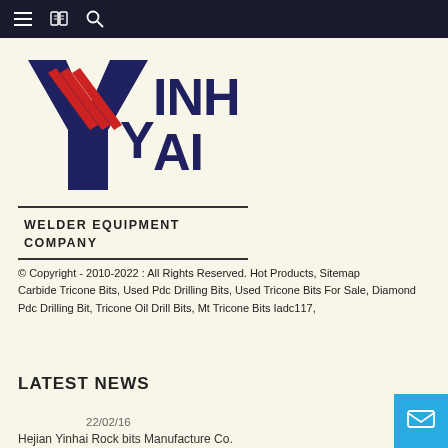Navigation bar with menu, book, and search icons
[Figure (logo): Yinhai company logo with large Y letter in navy blue with red diagonal stripes, and YINHAI text in bold navy blue]
WELDER EQUIPMENT COMPANY
© Copyright - 2010-2022 : All Rights Reserved. Hot Products, Sitemap
Carbide Tricone Bits, Used Pdc Drilling Bits, Used Tricone Bits For Sale, Diamond Pdc Drilling Bit, Tricone Oil Drill Bits, Mt Tricone Bits Iadc117,
LATEST NEWS
22/02/16
Hejian Yinhai Rock bits Manufacture Co.